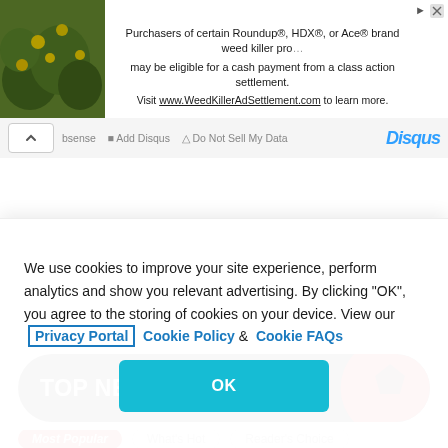[Figure (screenshot): Advertisement banner for Roundup/HDX/Ace weed killer class action settlement with plant image on left]
Purchasers of certain Roundup®, HDX®, or Ace® brand weed killer products may be eligible for a cash payment from a class action settlement. Visit www.WeedKillerAdSettlement.com to learn more.
[Figure (screenshot): Disqus navigation toolbar with chevron and Disqus logo]
[Figure (screenshot): TOP NEWS banner with soccer ball graphic and tabs: Most Popular, What's Hot, Reader's Choice]
We use cookies to improve your site experience, perform analytics and show you relevant advertising. By clicking "OK", you agree to the storing of cookies on your device. View our Privacy Portal Cookie Policy & Cookie FAQs
OK